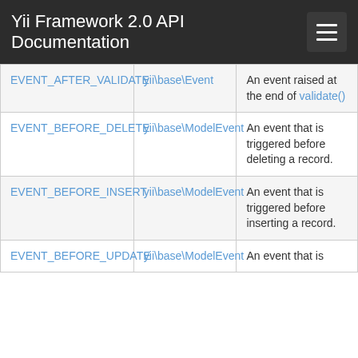Yii Framework 2.0 API Documentation
| Event | Type | Description |
| --- | --- | --- |
| EVENT_AFTER_VALIDATE | yii\base\Event | An event raised at the end of validate() |
| EVENT_BEFORE_DELETE | yii\base\ModelEvent | An event that is triggered before deleting a record. |
| EVENT_BEFORE_INSERT | yii\base\ModelEvent | An event that is triggered before inserting a record. |
| EVENT_BEFORE_UPDATE | yii\base\ModelEvent | An event that is |